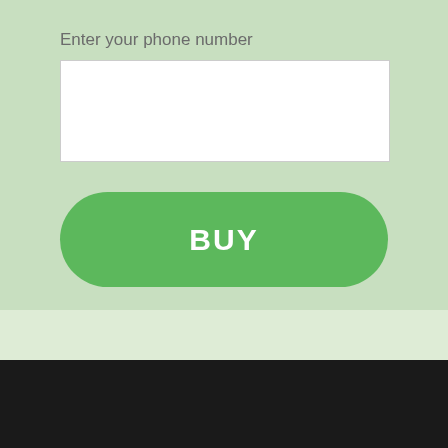Enter your phone number
[Figure (screenshot): White input field for phone number entry]
BUY
EXPERIENCE   USAGE INSTRUCTIONS   REVIEWS   CITY   ARTICLE
CANNABIS OIL CAPSULES
OFFER@DE-EN.CANNABIS-OIL-OFFICIAL.SITE